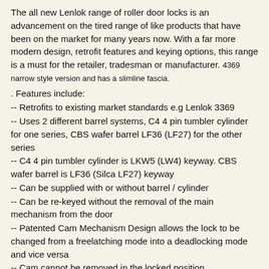The all new Lenlok range of roller door locks is an advancement on the tired range of like products that have been on the market for many years now. With a far more modern design, retrofit features and keying options, this range is a must for the retailer, tradesman or manufacturer. 4369 narrow style version and has a slimline fascia.
. Features include:
-- Retrofits to existing market standards e.g Lenlok 3369
-- Uses 2 different barrel systems, C4 4 pin tumbler cylinder for one series, CBS wafer barrel LF36 (LF27) for the other series
-- C4 4 pin tumbler cylinder is LKW5 (LW4) keyway. CBS wafer barrel is LF36 (Silca LF27) keyway
-- Can be supplied with or without barrel / cylinder
-- Can be re-keyed without the removal of the main mechanism from the door
-- Patented Cam Mechanism Design allows the lock to be changed from a freelatching mode into a deadlocking mode and vice versa
-- Cam cannot be removed in the locked position
-- Tamper proof screws supplied to enhance security in deadlocking mode